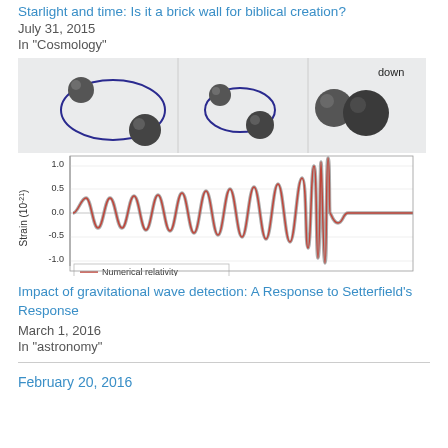Starlight and time: Is it a brick wall for biblical creation?
July 31, 2015
In "Cosmology"
[Figure (continuous-plot): Illustration of two black holes merging (top panel showing orbital stages from wide orbit to merger) combined with a gravitational wave strain chart (bottom panel) showing increasing oscillation amplitude over time. Y-axis labeled 'Strain (10^-21)' ranging from -1.0 to 1.0, with a legend entry 'Numerical relativity'. A label 'down' appears top right.]
Impact of gravitational wave detection: A Response to Setterfield's Response
March 1, 2016
In "astronomy"
February 20, 2016